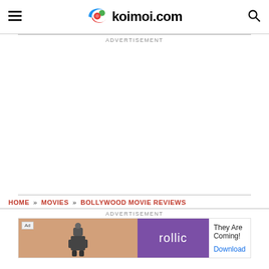koimoi.com
ADVERTISEMENT
HOME » MOVIES » BOLLYWOOD MOVIE REVIEWS
ADVERTISEMENT
[Figure (screenshot): Ad banner for Rollic game app with text 'They Are Coming!' and a Download link]